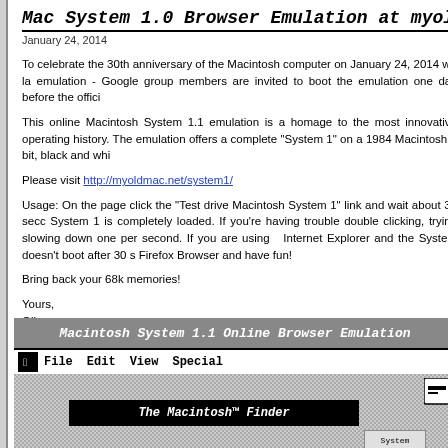Mac System 1.0 Browser Emulation at myoldmac.n
January 24, 2014
To celebrate the 30th anniversary of the Macintosh computer on January 24, 2014 we la emulation - Google group members are invited to boot the emulation one day before the offici
This online Macintosh System 1.1 emulation is a homage to the most innovative operating history. The emulation offers a complete "System 1" on a 1984 Macintosh 1 bit, black and whi
Please visit http://myoldmac.net/system1/
Usage: On the page click the "Test drive Macintosh System 1" link and wait about 30 secc System 1 is completely loaded. If you're having trouble double clicking, trying slowing down one per second. If you are using  Internet Explorer and the System doesn't boot after 30 s Firefox Browser and have fun!
Bring back your 68k memories!
Yours,
Oliver
Credits: Emulator: Hampa Hug | Browser Port: James Friend | Installation : Lion Vollm Pajonczek
[Figure (screenshot): Macintosh System 1.1 Online Browser Emulation screenshot showing the classic Mac OS menubar with File, Edit, View, Special menus and the Macintosh Finder window on a checkered desktop background]